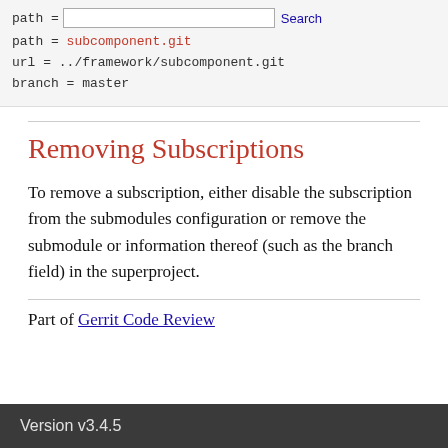path = subcomponent.git
url = ../framework/subcomponent.git
branch = master
Removing Subscriptions
To remove a subscription, either disable the subscription from the submodules configuration or remove the submodule or information thereof (such as the branch field) in the superproject.
Part of Gerrit Code Review
Version v3.4.5